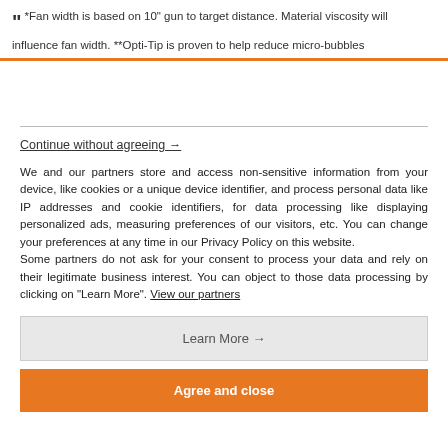" *Fan width is based on 10" gun to target distance. Material viscosity will influence fan width. **Opti-Tip is proven to help reduce micro-bubbles
Continue without agreeing →
We and our partners store and access non-sensitive information from your device, like cookies or a unique device identifier, and process personal data like IP addresses and cookie identifiers, for data processing like displaying personalized ads, measuring preferences of our visitors, etc. You can change your preferences at any time in our Privacy Policy on this website.
Some partners do not ask for your consent to process your data and rely on their legitimate business interest. You can object to those data processing by clicking on "Learn More". View our partners
Learn More →
Agree and close